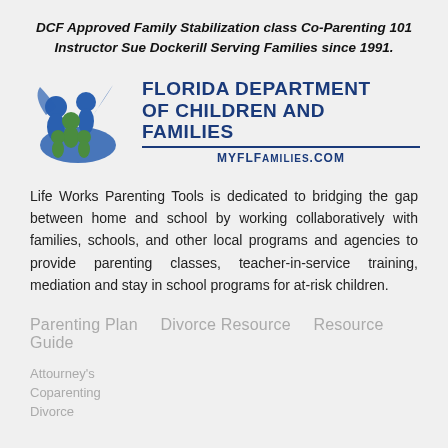DCF Approved Family Stabilization class Co-Parenting 101 Instructor Sue Dockerill Serving Families since 1991.
[Figure (logo): Florida Department of Children and Families logo with stylized blue figures and MyFLFamilies.com URL]
Life Works Parenting Tools is dedicated to bridging the gap between home and school by working collaboratively with families, schools, and other local programs and agencies to provide parenting classes, teacher-in-service training, mediation and stay in school programs for at-risk children.
Parenting Plan
Divorce Resource
Resource Guide
Attourney's
Coparenting
Divorce